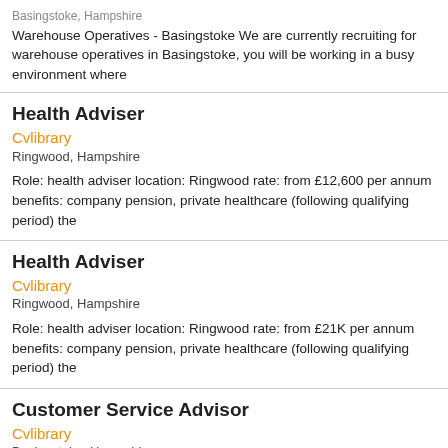Basingstoke, Hampshire
Warehouse Operatives - Basingstoke We are currently recruiting for warehouse operatives in Basingstoke, you will be working in a busy environment where
Health Adviser
Cvlibrary
Ringwood, Hampshire
Role: health adviser location: Ringwood rate: from £12,600 per annum benefits: company pension, private healthcare (following qualifying period) the
Health Adviser
Cvlibrary
Ringwood, Hampshire
Role: health adviser location: Ringwood rate: from £21K per annum benefits: company pension, private healthcare (following qualifying period) the
Customer Service Advisor
Cvlibrary
Basingstoke, Hampshire
Paying up to £30,000, hybrid working 2/3 days split or full time office based which ever is preferred, 34 days annual leave, life insurance 4x salary, bupa
Senior Scientist